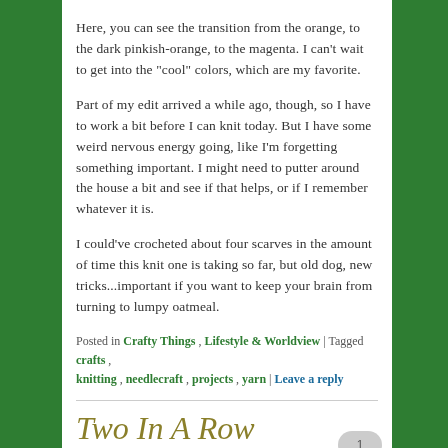Here, you can see the transition from the orange, to the dark pinkish-orange, to the magenta. I can't wait to get into the "cool" colors, which are my favorite.
Part of my edit arrived a while ago, though, so I have to work a bit before I can knit today. But I have some weird nervous energy going, like I'm forgetting something important. I might need to putter around the house a bit and see if that helps, or if I remember whatever it is.
I could've crocheted about four scarves in the amount of time this knit one is taking so far, but old dog, new tricks...important if you want to keep your brain from turning to lumpy oatmeal.
Posted in Crafty Things , Lifestyle & Worldview | Tagged crafts , knitting , needlecraft , projects , yarn | Leave a reply
Two In A Row